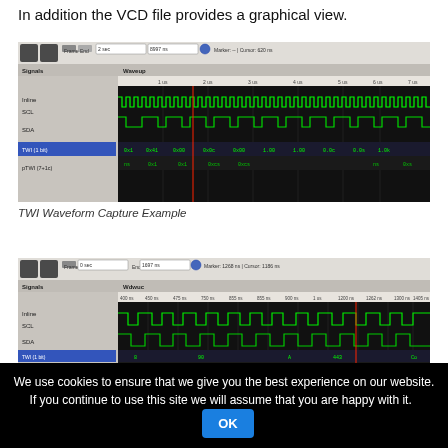In addition the VCD file provides a graphical view.
[Figure (screenshot): TWI Waveform Capture Example - oscilloscope/waveform viewer screenshot showing digital signals SCL, SDA and TWI data over time with green waveforms on black background]
TWI Waveform Capture Example
[Figure (screenshot): TWI Waveform Capture Example Detail - zoomed-in oscilloscope/waveform viewer screenshot showing digital signals SCL, SDA and TWI data with green waveforms on black background at higher resolution]
TWI Waveform Capture Example Detail
We use cookies to ensure that we give you the best experience on our website. If you continue to use this site we will assume that you are happy with it.